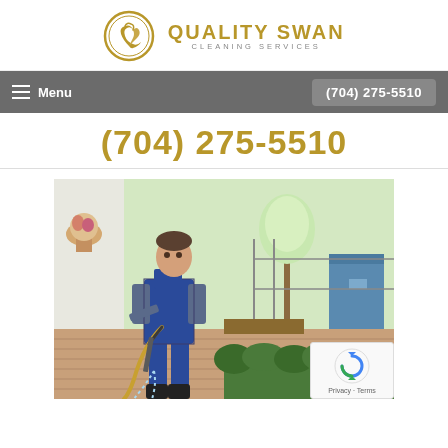[Figure (logo): Quality Swan Cleaning Services logo with swan emblem in gold circle and golden text]
Menu   (704) 275-5510
(704) 275-5510
[Figure (photo): Man in blue overalls using a pressure washer on a patio, with garden and trees in background]